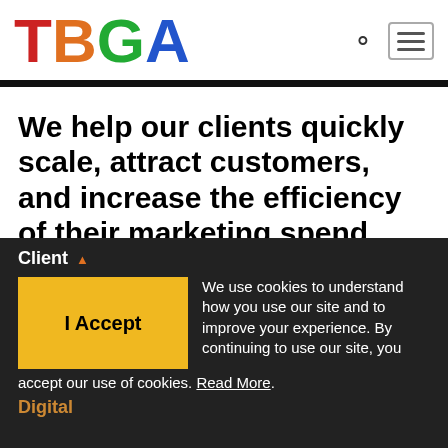[Figure (logo): TBGA logo with letters T (red), B (orange), G (green), A (blue) in large bold font]
We help our clients quickly scale, attract customers, and increase the efficiency of their marketing spend.
Filter by:
Client ▲
I Accept
We use cookies to understand how you use our site and to improve your experience. By continuing to use our site, you accept our use of cookies. Read More.
Digital